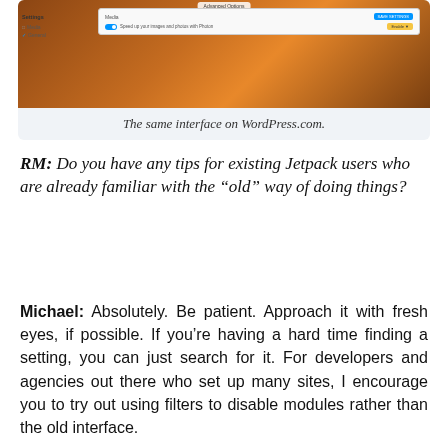[Figure (screenshot): Screenshot of a WordPress.com settings interface showing Advanced Options with Media settings and a toggle for speeding up images and photos with Photon.]
The same interface on WordPress.com.
RM: Do you have any tips for existing Jetpack users who are already familiar with the “old” way of doing things?
Michael: Absolutely. Be patient. Approach it with fresh eyes, if possible. If you’re having a hard time finding a setting, you can just search for it. For developers and agencies out there who set up many sites, I encourage you to try out using filters to disable modules rather than the old interface.